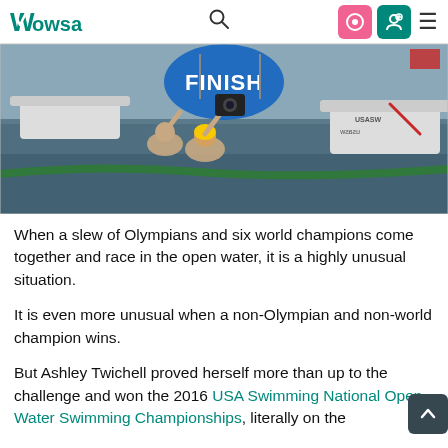WOWSA
[Figure (photo): Open water swimmers at a finish line in a body of water, with a blue FINISH banner/buoy visible. Several swimmers are reaching toward a timing apparatus. Boats and course equipment visible in the background.]
When a slew of Olympians and six world champions come together and race in the open water, it is a highly unusual situation.
It is even more unusual when a non-Olympian and non-world champion wins.
But Ashley Twichell proved herself more than up to the challenge and won the 2016 USA Swimming National Open Water Swimming Championships, literally on the